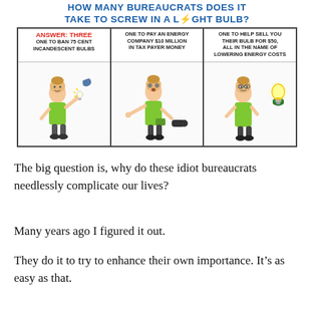[Figure (illustration): A three-panel cartoon comic strip. Title text at top in blue: 'HOW MANY BUREAUCRATS DOES IT TAKE TO SCREW IN A LIGHT BULB?'. Panel 1 (left): Red text 'ANSWER: THREE', below 'ONE TO BAN 75 CENT INCANDESCENT BULBS' — cartoon man having bulb taken from his hand by another hand. Panel 2 (center): 'ONE TO PAY AN ENERGY COMPANY $10 MILLION IN TAX PAYER MONEY' — cartoon man looking shocked with hand reaching into his pocket. Panel 3 (right): 'ONE TO HELP SELL YOU THEIR BULB FOR $50, ALL IN THE NAME OF LOWERING ENERGY COSTS' — cartoon man being offered a glowing bulb by a hand.]
The big question is, why do these idiot bureaucrats needlessly complicate our lives?
Many years ago I figured it out.
They do it to try to enhance their own importance. It's as easy as that.